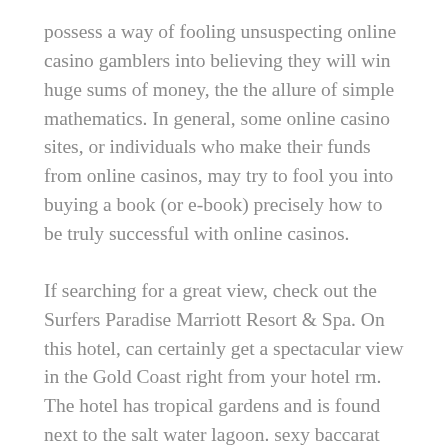possess a way of fooling unsuspecting online casino gamblers into believing they will win huge sums of money, the the allure of simple mathematics. In general, some online casino sites, or individuals who make their funds from online casinos, may try to fool you into buying a book (or e-book) precisely how to be truly successful with online casinos.
If searching for a great view, check out the Surfers Paradise Marriott Resort & Spa. On this hotel, can certainly get a spectacular view in the Gold Coast right from your hotel rm. The hotel has tropical gardens and is found next to the salt water lagoon. sexy baccarat Really can find pools outdoors while on the hotel grounds, or will be able to indulge within a steam bath, Jacuzzi or sauna. You will find plenty of water sports quickly you to enjoy, from jet skiing and water skiing to surfing, diving and sailing. If those don't